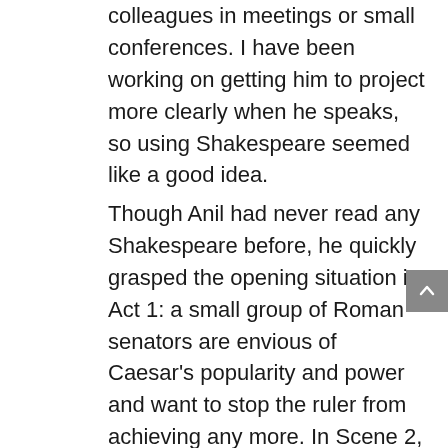colleagues in meetings or small conferences. I have been working on getting him to project more clearly when he speaks, so using Shakespeare seemed like a good idea.
Though Anil had never read any Shakespeare before, he quickly grasped the opening situation in Act 1: a small group of Roman senators are envious of Caesar’s popularity and power and want to stop the ruler from achieving any more. In Scene 2, Caesar confides to his best friend, Mark Antony, that he does not like the look of one of the senators, a severe-looking man named Cassius. Anil read that passage in modern form, and i t went something like this: